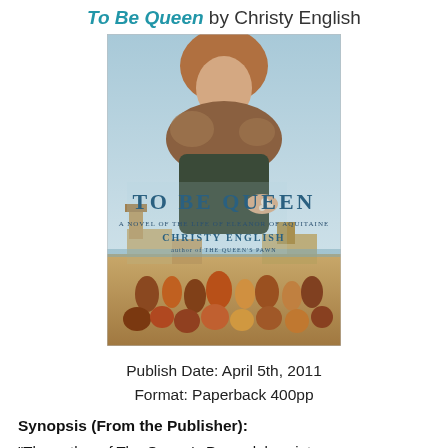To Be Queen by Christy English
[Figure (illustration): Book cover of 'To Be Queen' by Christy English showing a woman in period costume holding flowers, with a medieval coastal town scene below, and the title text 'TO BE QUEEN' and 'CHRISTY ENGLISH' on the cover.]
Publish Date: April 5th, 2011
Format: Paperback 400pp
Synopsis (From the Publisher):
"The author of The Queen's Pawn delves into